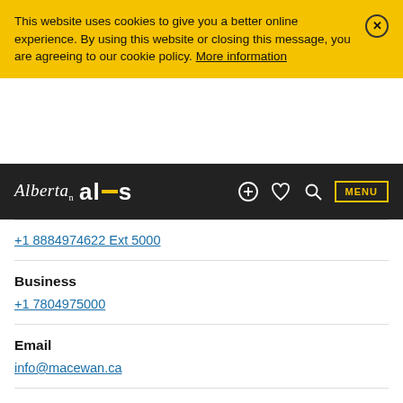This website uses cookies to give you a better online experience. By using this website or closing this message, you are agreeing to our cookie policy. More information
Alberta alis — navigation bar with MENU
+1 8884974622 Ext 5000
Business
+1 7804975000
Email
info@macewan.ca
Website
www.macewan.ca
Fax